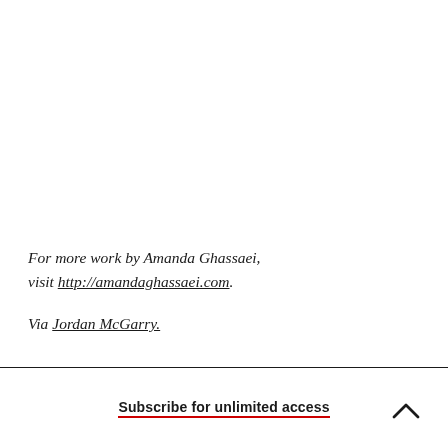For more work by Amanda Ghassaei, visit http://amandaghassaei.com.
Via Jordan McGarry.
Subscribe for unlimited access